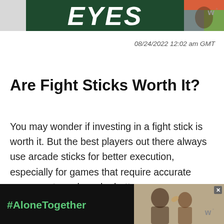[Figure (screenshot): Top banner advertisement with dark green background showing 'EYES' text in large white italic bold letters, a person with colorful head accessory on the right, and a white/grey panel on the left. A 'w°' logo appears in the top right corner.]
08/24/2022 12:02 am GMT
Are Fight Sticks Worth It?
You may wonder if investing in a fight stick is worth it. But the best players out there always use arcade sticks for better execution, especially for games that require accurate movements and combo buttons.
[Figure (screenshot): Bottom advertisement banner with black background showing '#AloneTogether' in green text on the left, and a photo of two people (adult and child) smiling and waving on the right, with a close/X button and 'w°' logo.]